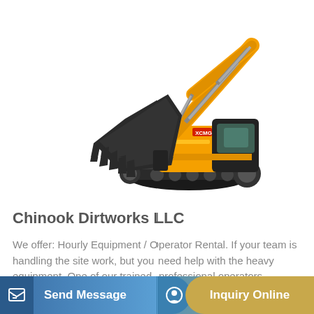[Figure (photo): Yellow XCMG excavator/digger with large bucket arm extended upward, on crawler tracks, white background]
Chinook Dirtworks LLC
We offer: Hourly Equipment / Operator Rental. If your team is handling the site work, but you need help with the heavy equipment. One of our trained, professional operators,...